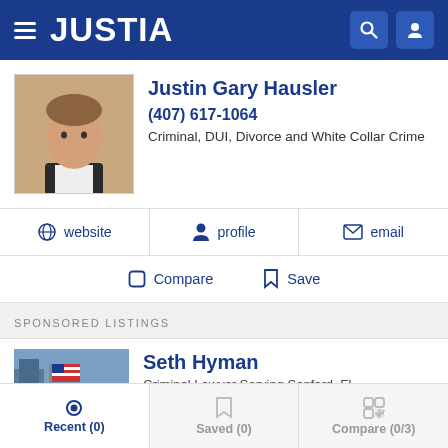JUSTIA
Justin Gary Hausler
(407) 617-1064
Criminal, DUI, Divorce and White Collar Crime
website | profile | email
Compare | Save
SPONSORED LISTINGS
Seth Hyman
Criminal Lawyer Serving Sanford, FL
(407) 274-7501
Free Consultation
Recent (0) | Saved (0) | Compare (0/3)